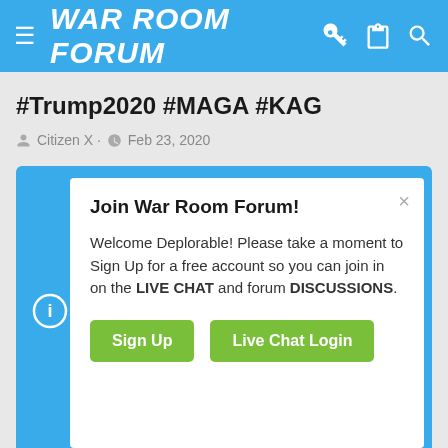WAR ROOM FORUM
#Trump2020 #MAGA #KAG
Citizen X · Feb 23, 2020
[Figure (screenshot): Sign-up modal popup with title 'Join War Room Forum!', welcome message referencing LIVE CHAT and DISCUSSIONS, and two green buttons: Sign Up and Live Chat Login]
War Room Curated News